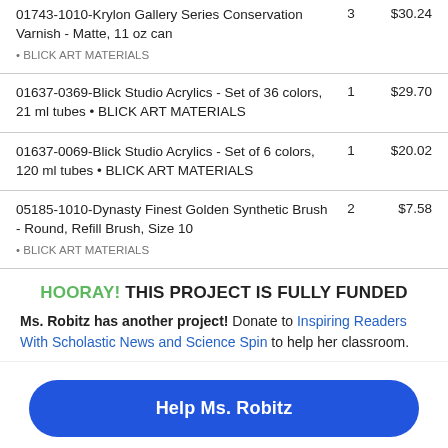01743-1010-Krylon Gallery Series Conservation Varnish - Matte, 11 oz can • BLICK ART MATERIALS
01637-0369-Blick Studio Acrylics - Set of 36 colors, 21 ml tubes • BLICK ART MATERIALS
01637-0069-Blick Studio Acrylics - Set of 6 colors, 120 ml tubes • BLICK ART MATERIALS
05185-1010-Dynasty Finest Golden Synthetic Brush - Round, Refill Brush, Size 10 • BLICK ART MATERIALS
HOORAY! THIS PROJECT IS FULLY FUNDED
Ms. Robitz has another project! Donate to Inspiring Readers With Scholastic News and Science Spin to help her classroom.
Help Ms. Robitz